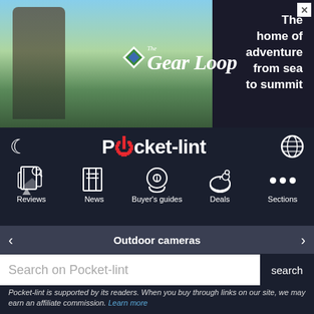[Figure (illustration): The Gear Loop advertisement banner showing a hiker in mountain landscape with text 'The home of adventure from sea to summit']
Pocket-lint navigation header with moon icon, logo, globe icon, Reviews, News, Buyer's guides, Deals, Sections
Outdoor cameras
Search on Pocket-lint
Pocket-lint is supported by its readers. When you buy through links on our site, we may earn an affiliate commission. Learn more
Home > Smart Home > Smart Home buyer's guides > Home Security smart home buyer's guides
Best smart bulbs 2022: Philips